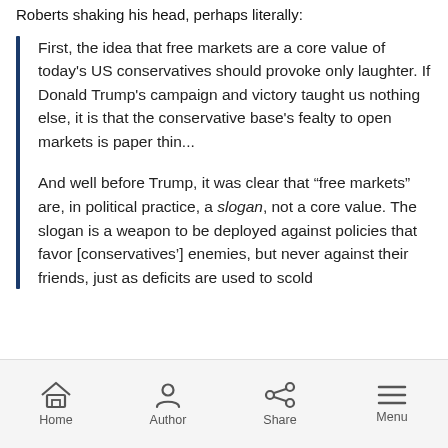Roberts shaking his head, perhaps literally:
First, the idea that free markets are a core value of today's US conservatives should provoke only laughter. If Donald Trump's campaign and victory taught us nothing else, it is that the conservative base's fealty to open markets is paper thin...

And well before Trump, it was clear that “free markets” are, in political practice, a slogan, not a core value. The slogan is a weapon to be deployed against policies that favor [conservatives’] enemies, but never against their friends, just as deficits are used to scold
Home  Author  Share  Menu